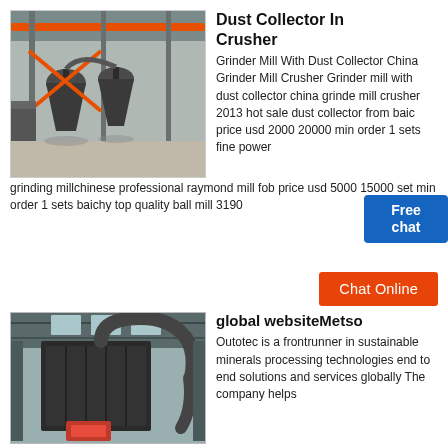[Figure (photo): Industrial grinding mill facility interior with orange overhead crane, large cyclone dust collectors, and steel framework structure]
Dust Collector In Crusher
Grinder Mill With Dust Collector China Grinder Mill Crusher Grinder mill with dust collector china grinder mill crusher 2013 hot sale dust collector from baichy price usd 2000 20000 min order 1 sets fine power grinding millchinese professional raymond mill fob price usd 5000 15000 set min order 1 sets baichy top quality ball mill 3190
[Figure (other): Free chat popup widget with person illustration]
Chat Online
[Figure (photo): Large industrial dust collector/bag filter unit exterior with black metal housing and ductwork piping, inside a facility]
global websiteMetso
Outotec is a frontrunner in sustainable minerals processing technologies end to end solutions and services globally The company helps